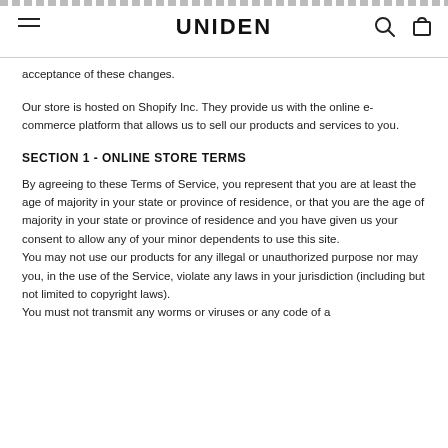UNIDEN
acceptance of these changes.
Our store is hosted on Shopify Inc. They provide us with the online e-commerce platform that allows us to sell our products and services to you.
SECTION 1 - ONLINE STORE TERMS
By agreeing to these Terms of Service, you represent that you are at least the age of majority in your state or province of residence, or that you are the age of majority in your state or province of residence and you have given us your consent to allow any of your minor dependents to use this site.
You may not use our products for any illegal or unauthorized purpose nor may you, in the use of the Service, violate any laws in your jurisdiction (including but not limited to copyright laws).
You must not transmit any worms or viruses or any code of a